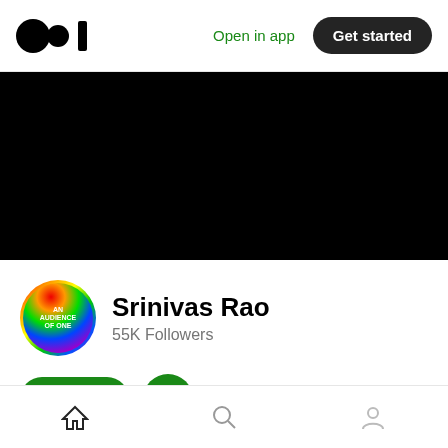Open in app  Get started
[Figure (screenshot): Black banner/cover image area]
Srinivas Rao
55K Followers
Follow
Home
Home  Search  Profile navigation icons